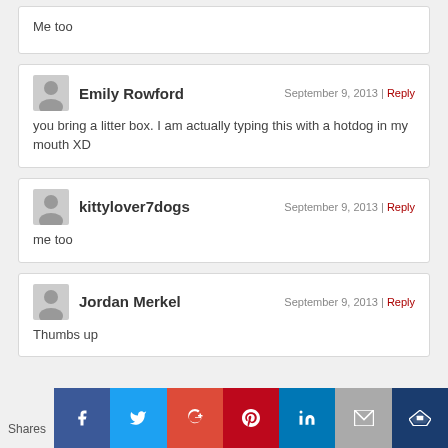Me too
Emily Rowford — September 9, 2013 | Reply
you bring a litter box. I am actually typing this with a hotdog in my mouth XD
kittylover7dogs — September 9, 2013 | Reply
me too
Jordan Merkel — September 9, 2013 | Reply
Thumbs up
[Figure (infographic): Social sharing bar with icons for Facebook, Twitter, Google+, Pinterest, LinkedIn, Email, and a crown icon. Shows 'Shares' label on left.]